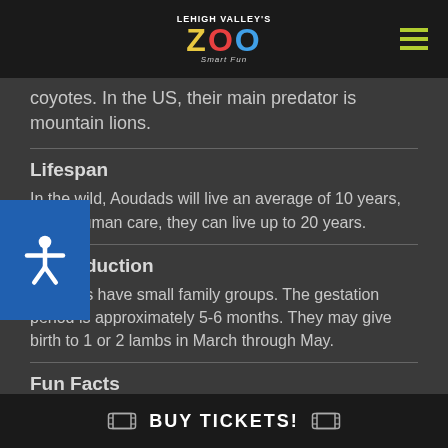Lehigh Valley Zoo – Smart Fun
coyotes. In the US, their main predator is mountain lions.
Lifespan
In the wild, Aoudads will live an average of 10 years, but in human care, they can live up to 20 years.
Reproduction
Aoudads have small family groups. The gestation period is approximately 5-6 months. They may give birth to 1 or 2 lambs in March through May.
Fun Facts
Wild population loss and hunting... Aoudad has se... well as being used for their hide, hair, and sinew.
BUY TICKETS!